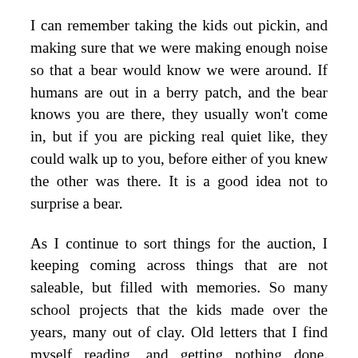I can remember taking the kids out pickin, and making sure that we were making enough noise so that a bear would know we were around. If humans are out in a berry patch, and the bear knows you are there, they usually won't come in, but if you are picking real quiet like, they could walk up to you, before either of you knew the other was there. It is a good idea not to surprise a bear.
As I continue to sort things for the auction, I keeping coming across things that are not saleable, but filled with memories. So many school projects that the kids made over the years, many out of clay. Old letters that I find myself reading, and getting nothing done. Pictures of the kids or Charmaine, doing things I totally forgot about. In the workshop, projects that were half started that I really have to